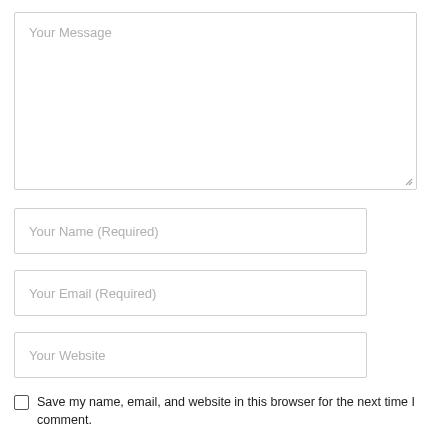[Figure (screenshot): A textarea input field with placeholder text 'Your Message' and a resize handle in the bottom-right corner.]
[Figure (screenshot): A text input field with placeholder text 'Your Name (Required)'.]
[Figure (screenshot): A text input field with placeholder text 'Your Email (Required)'.]
[Figure (screenshot): A text input field with placeholder text 'Your Website'.]
Save my name, email, and website in this browser for the next time I comment.